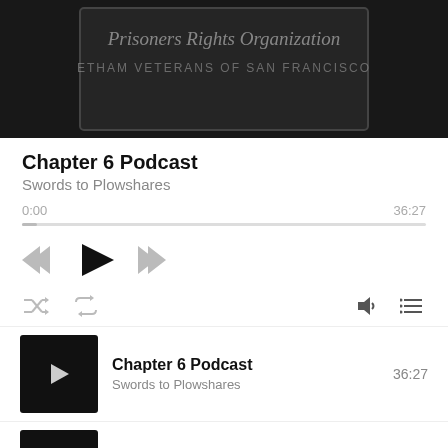[Figure (screenshot): Podcast thumbnail image showing dark background with text 'Prisoners Rights Organization From Veterans of San Francisco']
Chapter 6 Podcast
Swords to Plowshares
0:00   36:27
[Figure (screenshot): Media player controls: rewind, play, fast-forward, shuffle, repeat, volume, playlist buttons]
Chapter 6 Podcast  36:27
Swords to Plowshares
Identifying, Screerin...  24:47
Swords to Plowshares
Building a Community for ...
Swords to Plowshares